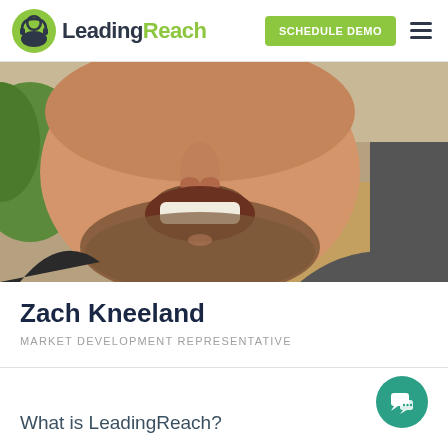[Figure (logo): LeadingReach logo with green circular icon and text]
SCHEDULE DEMO
[Figure (photo): Close-up photo of a smiling man with a beard outdoors]
Zach Kneeland
MARKET DEVELOPMENT REPRESENTATIVE
What is LeadingReach?